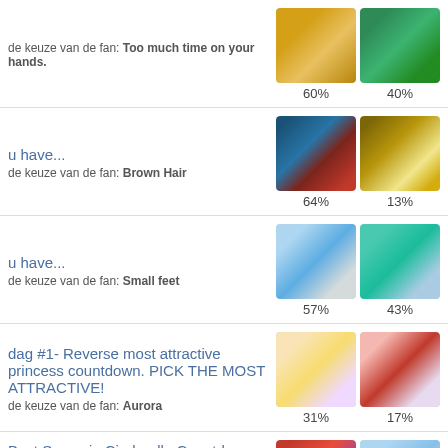de keuze van de fan: Too much time on your hands. | 60% | 40%
u have... | de keuze van de fan: Brown Hair | 64% | 13%
u have... | de keuze van de fan: Small feet | 57% | 43%
dag #1- Reverse most attractive princess countdown. PICK THE MOST ATTRACTIVE! | de keuze van de fan: Aurora | 31% | 17%
Best Scene in Cinderella Countdown dag 14. Choose your LEAST favoriete scene and please commentaar for my artikel :)